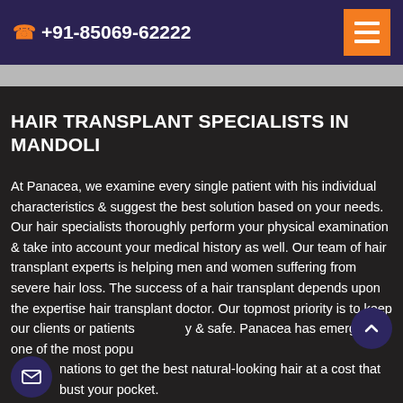+91-85069-62222
HAIR TRANSPLANT SPECIALISTS IN MANDOLI
At Panacea, we examine every single patient with his individual characteristics & suggest the best solution based on your needs. Our hair specialists thoroughly perform your physical examination & take into account your medical history as well. Our team of hair transplant experts is helping men and women suffering from severe hair loss. The success of a hair transplant depends upon the expertise hair transplant doctor. Our topmost priority is to keep our clients or patients healthy & safe. Panacea has emerged as one of the most popular destinations to get the best natural-looking hair at a cost that won't bust your pocket.